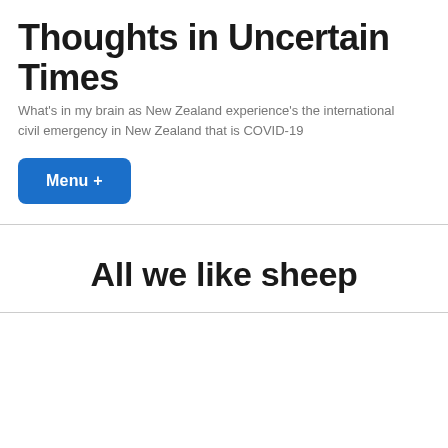Thoughts in Uncertain Times
What's in my brain as New Zealand experience's the international civil emergency in New Zealand that is COVID-19
Menu +
All we like sheep